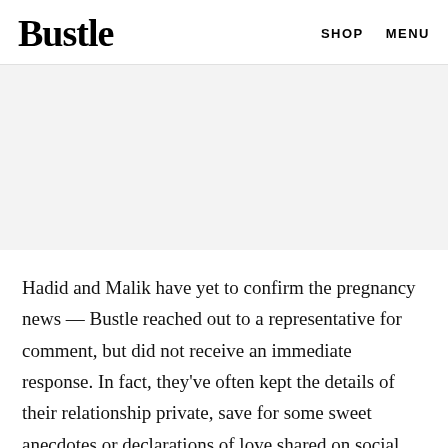Bustle  SHOP  MENU
[Figure (other): Advertisement banner placeholder, light gray background]
Hadid and Malik have yet to confirm the pregnancy news — Bustle reached out to a representative for comment, but did not receive an immediate response. In fact, they've often kept the details of their relationship private, save for some sweet anecdotes or declarations of love shared on social media and